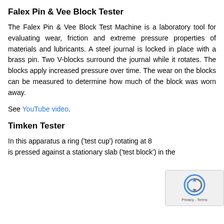Falex Pin & Vee Block Tester
The Falex Pin & Vee Block Test Machine is a laboratory tool for evaluating wear, friction and extreme pressure properties of materials and lubricants. A steel journal is locked in place with a brass pin. Two V-blocks surround the journal while it rotates. The blocks apply increased pressure over time. The wear on the blocks can be measured to determine how much of the block was worn away.
See YouTube video.
Timken Tester
In this apparatus a ring ('test cup') rotating at 8… is pressed against a stationary slab ('test block') in the…